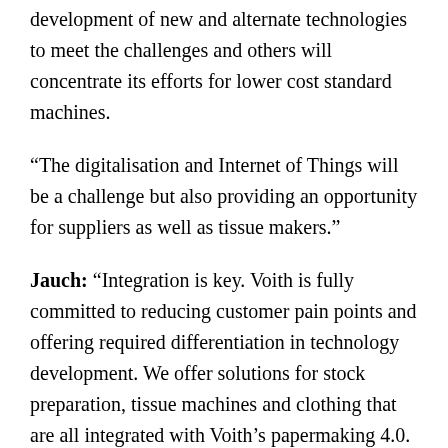development of new and alternate technologies to meet the challenges and others will concentrate its efforts for lower cost standard machines.
“The digitalisation and Internet of Things will be a challenge but also providing an opportunity for suppliers as well as tissue makers.”
Jauch: “Integration is key. Voith is fully committed to reducing customer pain points and offering required differentiation in technology development. We offer solutions for stock preparation, tissue machines and clothing that are all integrated with Voith’s papermaking 4.0. Papermaking 4.0 brings the papermaking process